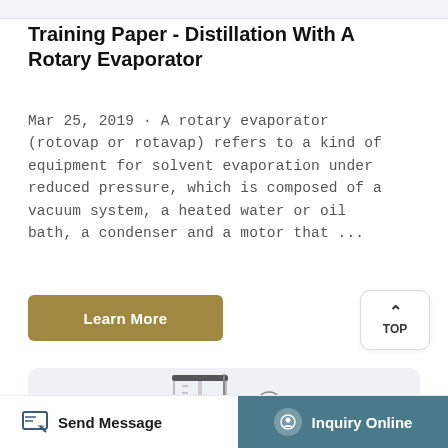Training Paper - Distillation With A Rotary Evaporator
Mar 25, 2019 · A rotary evaporator (rotovap or rotavap) refers to a kind of equipment for solvent evaporation under reduced pressure, which is composed of a vacuum system, a heated water or oil bath, a condenser and a motor that ...
[Figure (illustration): Laboratory syringe with circular gauge/valve fitting illustrated against a light blue-grey background]
Send Message | Inquiry Online